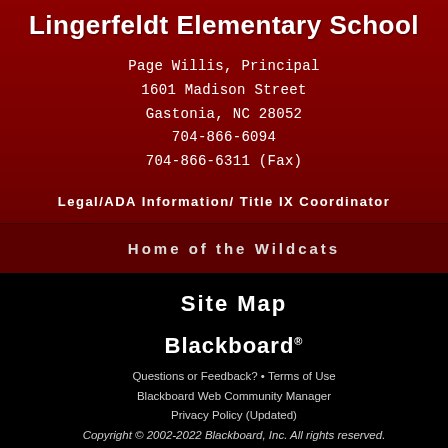Lingerfeldt Elementary School
Page Willis, Principal
1601 Madison Street
Gastonia, NC 28052
704-866-6094
704-866-6311 (Fax)
Legal/ADA Information/ Title IX Coordinator
Home of the Wildcats
Site Map
Blackboard
Questions or Feedback? • Terms of Use
Blackboard Web Community Manager
Privacy Policy (Updated)
Copyright © 2002-2022 Blackboard, Inc. All rights reserved.